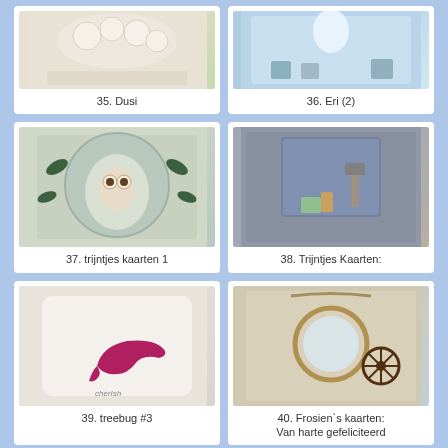[Figure (photo): Handmade card with white flowers on a light background, item 35 Dusi]
35. Dusi
[Figure (photo): Handmade baby card with blue themed stork and toys, item 36 Eri (2)]
36. Eri (2)
[Figure (photo): Handmade card with owl and wreath design, item 37 trijntjes kaarten 1]
37. trijntjes kaarten 1
[Figure (photo): Handmade card with tools and denim fabric, item 38 Trijntjes Kaarten:]
38. Trijntjes Kaarten:
[Figure (photo): Handmade card with pink high heel shoe on white background, item 39 treebug #3]
39. treebug #3
[Figure (photo): Handmade nautical card with ship wheel and round frame, item 40 Frosien's kaarten]
40. Frosien`s kaarten:
Van harte gefeliciteerd